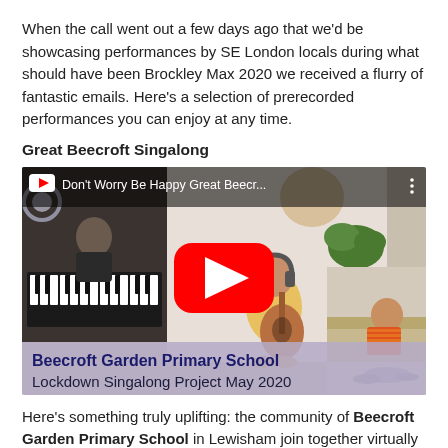When the call went out a few days ago that we'd be showcasing performances by SE London locals during what should have been Brockley Max 2020 we received a flurry of fantastic emails. Here's a selection of prerecorded performances you can enjoy at any time.
Great Beecroft Singalong
[Figure (screenshot): YouTube video thumbnail showing 'Don't Worry Be Happy Great Beecr...' with three children playing instruments at home and a YouTube play button overlay. Bottom overlay text reads 'Beecroft Garden Primary School Lockdown Singalong Project May 2020'.]
Here's something truly uplifting: the community of Beecroft Garden Primary School in Lewisham join together virtually